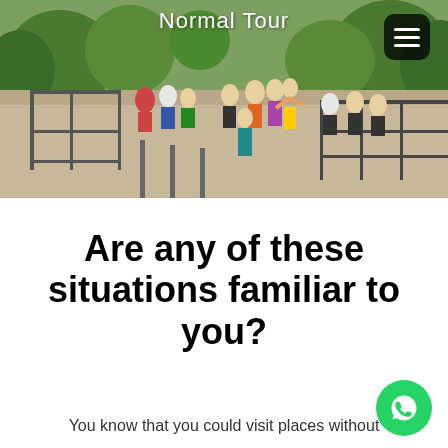[Figure (photo): Outdoor photo of a large group of tourists on a scenic overlook platform with greenery and hills in the background. Text overlay reads 'Normal Tour' at the top.]
Are any of these situations familiar to you?
You know that you could visit places without